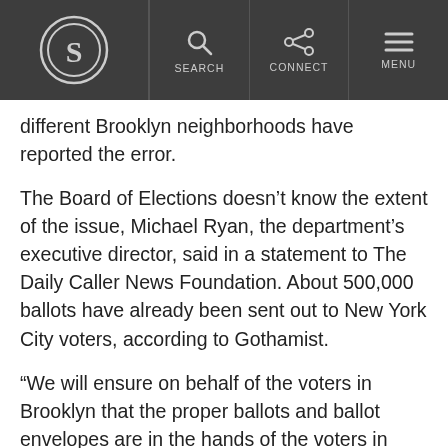S | SEARCH | CONNECT | MENU
different Brooklyn neighborhoods have reported the error.
The Board of Elections doesn’t know the extent of the issue, Michael Ryan, the department’s executive director, said in a statement to The Daily Caller News Foundation. About 500,000 ballots have already been sent out to New York City voters, according to Gothamist.
“We will ensure on behalf of the voters in Brooklyn that the proper ballots and ballot envelopes are in the hands of the voters in advance of Election Day so they can vote,” Ryan said.